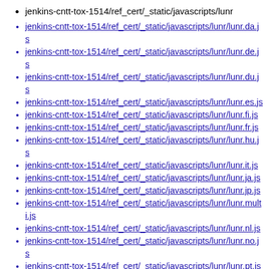jenkins-cntt-tox-1514/ref_cert/_static/javascripts/lunr
jenkins-cntt-tox-1514/ref_cert/_static/javascripts/lunr/lunr.da.js
jenkins-cntt-tox-1514/ref_cert/_static/javascripts/lunr/lunr.de.js
jenkins-cntt-tox-1514/ref_cert/_static/javascripts/lunr/lunr.du.js
jenkins-cntt-tox-1514/ref_cert/_static/javascripts/lunr/lunr.es.js
jenkins-cntt-tox-1514/ref_cert/_static/javascripts/lunr/lunr.fi.js
jenkins-cntt-tox-1514/ref_cert/_static/javascripts/lunr/lunr.fr.js
jenkins-cntt-tox-1514/ref_cert/_static/javascripts/lunr/lunr.hu.js
jenkins-cntt-tox-1514/ref_cert/_static/javascripts/lunr/lunr.it.js
jenkins-cntt-tox-1514/ref_cert/_static/javascripts/lunr/lunr.ja.js
jenkins-cntt-tox-1514/ref_cert/_static/javascripts/lunr/lunr.jp.js
jenkins-cntt-tox-1514/ref_cert/_static/javascripts/lunr/lunr.multi.js
jenkins-cntt-tox-1514/ref_cert/_static/javascripts/lunr/lunr.nl.js
jenkins-cntt-tox-1514/ref_cert/_static/javascripts/lunr/lunr.no.js
jenkins-cntt-tox-1514/ref_cert/_static/javascripts/lunr/lunr.pt.js
jenkins-cntt-tox-1514/ref_cert/_static/javascripts/lunr/lunr.ro.js
jenkins-cntt-tox-1514/ref_cert/_static/javascripts/lunr/lunr.ru.js
jenkins-cntt-tox-1514/ref_cert/_static/javascripts/lunr/lunr.stemmer.support.js
jenkins-cntt-tox-1514/ref_cert/_static/javascripts/lunr/lunr.sv.js
jenkins-cntt-tox-1514/ref_cert/_static/javascripts/lunr/lunr.th.js
jenkins-cntt-tox-1514/ref_cert/_static/javascripts/lunr/lunr.tr.js
jenkins-cntt-tox-1514/ref_cert/_static/javascripts/lunr/tinyseg.js